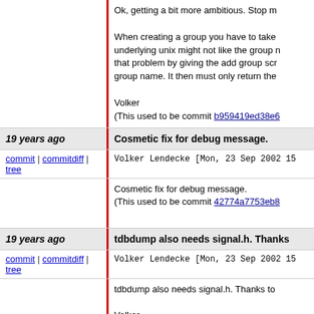Ok, getting a bit more ambitious. Stop m

When creating a group you have to take underlying unix might not like the group n that problem by giving the add group scr group name. It then must only return the

Volker
(This used to be commit b959419ed38e6
19 years ago
Cosmetic fix for debug message.
commit | commitdiff | tree
Volker Lendecke [Mon, 23 Sep 2002 15
Cosmetic fix for debug message.
(This used to be commit 42774a7753eb8
19 years ago
tdbdump also needs signal.h. Thanks
commit | commitdiff | tree
Volker Lendecke [Mon, 23 Sep 2002 15
tdbdump also needs signal.h. Thanks to

Volker
(This used to be commit a1bade0748fa4